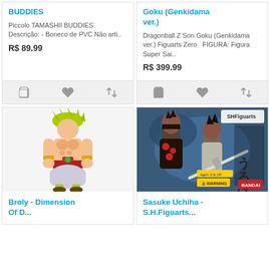BUDDIES
Piccolo TAMASHII BUDDIES   Descrição: - Boneco de PVC Não arti..
R$ 89.99
Goku (Genkidama ver.)
Dragonball Z Son Goku (Genkidama ver.) Figuarts Zero   FIGURA: Figura Super Sai..
R$ 399.99
[Figure (illustration): Broly Dragon Ball figure - muscular character with green spiky hair, wearing a red and white outfit]
Broly - Dimension Of D...
[Figure (illustration): Sasuke Uchiha SH Figuarts action figure box set from Bandai with Japanese text]
Sasuke Uchiha - S.H.Figuarts...